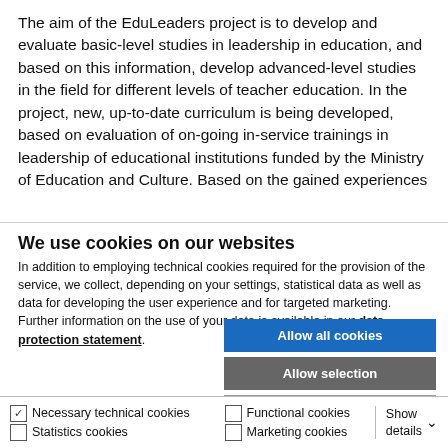The aim of the EduLeaders project is to develop and evaluate basic-level studies in leadership in education, and based on this information, develop advanced-level studies in the field for different levels of teacher education. In the project, new, up-to-date curriculum is being developed, based on evaluation of on-going in-service trainings in leadership of educational institutions funded by the Ministry of Education and Culture. Based on the gained experiences
We use cookies on our websites
In addition to employing technical cookies required for the provision of the service, we collect, depending on your settings, statistical data as well as data for developing the user experience and for targeted marketing. Further information on the use of your data is available in our data protection statement.
[Figure (other): Cookie consent buttons: Allow all cookies (blue), Allow selection (grey), Use necessary cookies only (light grey)]
Necessary technical cookies  Functional cookies  Statistics cookies  Marketing cookies  Show details